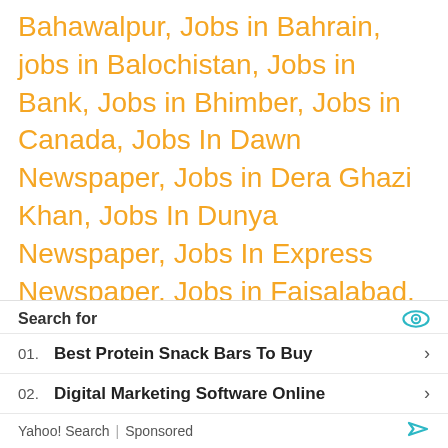Bahawalpur, Jobs in Bahrain, jobs in Balochistan, Jobs in Bank, Jobs in Bhimber, Jobs in Canada, Jobs In Dawn Newspaper, Jobs in Dera Ghazi Khan, Jobs In Dunya Newspaper, Jobs In Express Newspaper, Jobs in Faisalabad, Jobs in FATA, Jobs In Gilgit Baltistan, Jobs in Gujranwala, Jobs in Gwadar, Jobs in Hyderabad, Jobs in Islamabad, Jobs In Jang Newspaper, Jobs in Jhang, Jobs in Karachi, Jobs in Khanewal, Jobs in Kotli, Jobs in KPK, Jobs In Kuwait, Jobs in Lahore, Jobs in Mardan, Jobs in Multan, Jobs in Muzaffarabad, Jobs In Narowal, Jobs In Navy,
[Figure (infographic): Yahoo Search sponsored ad box with 'Search for' header, eye icon, two search result rows: '01. Best Protein Snack Bars To Buy' and '02. Digital Marketing Software Online', and footer with 'Yahoo! Search | Sponsored' branding]